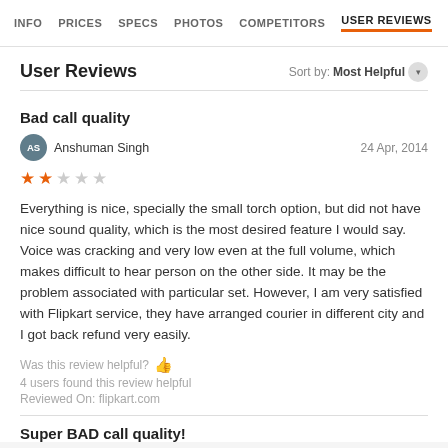INFO  PRICES  SPECS  PHOTOS  COMPETITORS  USER REVIEWS
User Reviews
Sort by: Most Helpful
Bad call quality
Anshuman Singh  24 Apr, 2014
★★☆☆☆
Everything is nice, specially the small torch option, but did not have nice sound quality, which is the most desired feature I would say. Voice was cracking and very low even at the full volume, which makes difficult to hear person on the other side. It may be the problem associated with particular set. However, I am very satisfied with Flipkart service, they have arranged courier in different city and I got back refund very easily.
Was this review helpful?
4 users found this review helpful
Reviewed On: flipkart.com
Super BAD call quality!